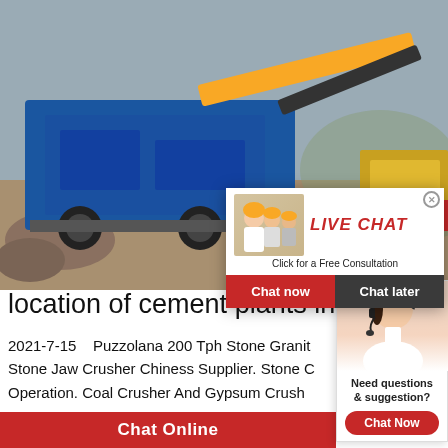[Figure (photo): Mining/crushing machinery equipment (blue/yellow) at a quarry site, outdoor industrial setting]
[Figure (screenshot): Live chat popup overlay showing workers in hard hats, red 'LIVE CHAT' title, 'Click for a Free Consultation' subtitle, and Chat now / Chat later buttons]
hrs Online
[Figure (photo): Customer service representative with headset on right side, with 'Need questions & suggestion?' text and red 'Chat Now' button]
location of cement plants in rajastha
2021-7-15   Puzzolana 200 Tph Stone Granit Stone Jaw Crusher Chiness Supplier. Stone C Operation. Coal Crusher And Gypsum Crush
Chat Online